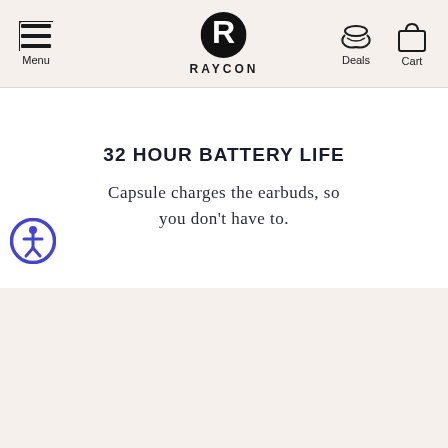Menu | RAYCON | Deals | Cart
32 HOUR BATTERY LIFE
Capsule charges the earbuds, so you don't have to.